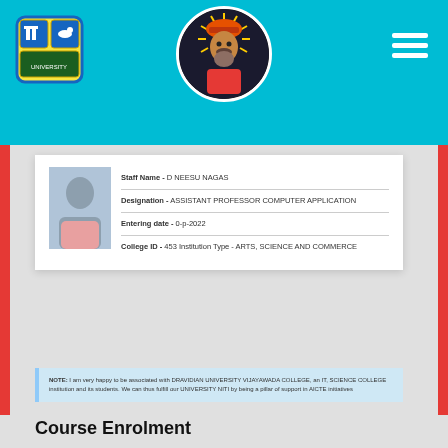[Figure (logo): University/college crest logo on the left of the header]
[Figure (photo): Circular portrait of a spiritual figure with orange hat in the center of the header]
Staff Name - D NEESU NAGAS
Designation - ASSISTANT PROFESSOR COMPUTER APPLICATION
Entering date - 0-p-2022
College ID - 453 Institution Type - ARTS, SCIENCE AND COMMERCE
NOTE: I am very happy to be associated with DRAVIDIAN UNIVERSITY VIJAYAWADA COLLEGE, an IT, SCIENCE COLLEGE institution and its students. We can thus fulfill our UNIVERSITY NITI by being a pillar of support in AICTE initiatives
Course Enrolment